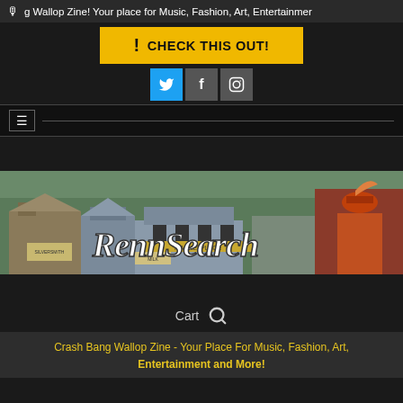🎙 g Wallop Zine! Your place for Music, Fashion, Art, Entertainment
[Figure (screenshot): Yellow CHECK THIS OUT! call-to-action button]
[Figure (screenshot): Twitter, Facebook, Instagram social media icons]
[Figure (screenshot): Navigation bar with hamburger menu icon]
[Figure (illustration): RennSearch banner image with renaissance fair background and costumed figure]
Cart 🔍
Crash Bang Wallop Zine - Your Place For Music, Fashion, Art, Entertainment and More!